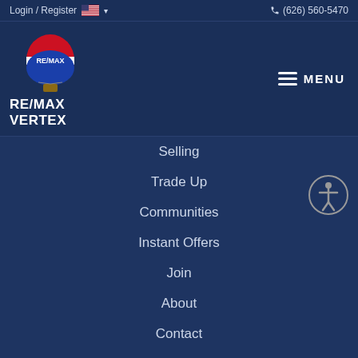Login / Register  🇺🇸 ▾   (626) 560-5470
[Figure (logo): RE/MAX balloon logo — red white and blue hot air balloon with RE/MAX text]
RE/MAX VERTEX
MENU
Selling
Trade Up
Communities
Instant Offers
Join
About
Contact
POPULAR SEARCHES
Recently Listed
Featured Listings
Luxury Homes
New Construction